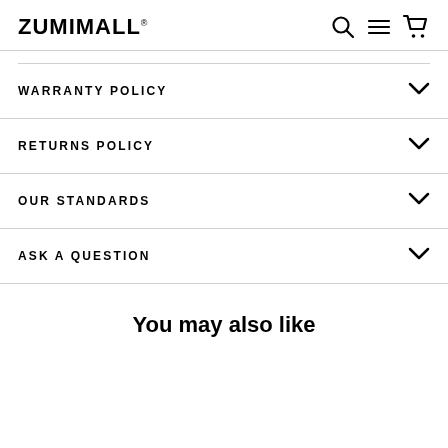ZUMIMALL
WARRANTY POLICY
RETURNS POLICY
OUR STANDARDS
ASK A QUESTION
You may also like